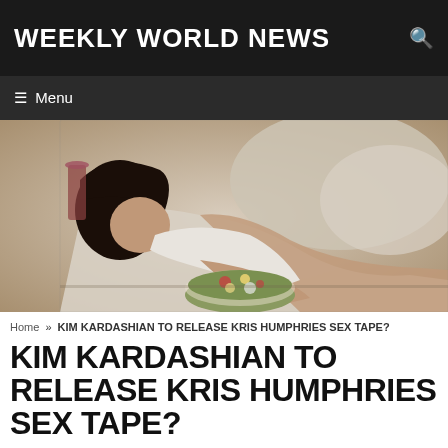WEEKLY WORLD NEWS
Menu
[Figure (photo): A woman with dark hair lying on a bed/couch in a white robe, with a salad bowl in front of her.]
Home » KIM KARDASHIAN TO RELEASE KRIS HUMPHRIES SEX TAPE?
KIM KARDASHIAN TO RELEASE KRIS HUMPHRIES SEX TAPE?